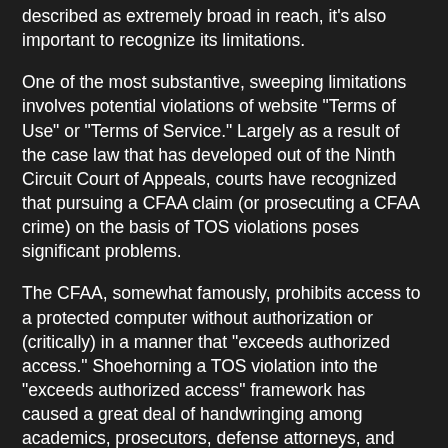described as extremely broad in reach, it's also important to recognize its limitations.
One of the most substantive, sweeping limitations involves potential violations of website "Terms of Use" or "Terms of Service." Largely as a result of the case law that has developed out of the Ninth Circuit Court of Appeals, courts have recognized that pursuing a CFAA claim (or prosecuting a CFAA crime) on the basis of TOS violations poses significant problems.
The CFAA, somewhat famously, prohibits access to a protected computer without authorization or (critically) in a manner that "exceeds authorized access." Shoehorning a TOS violation into the "exceeds authorized access" framework has caused a great deal of handwringing among academics, prosecutors, defense attorneys, and judges.
The most well-known case involved Lori Drew, the MySpace Mom who created a fake account to contact a 13-year-old girl with whom her daughter was friends. The girl later committed suicide after corresponding with a person she